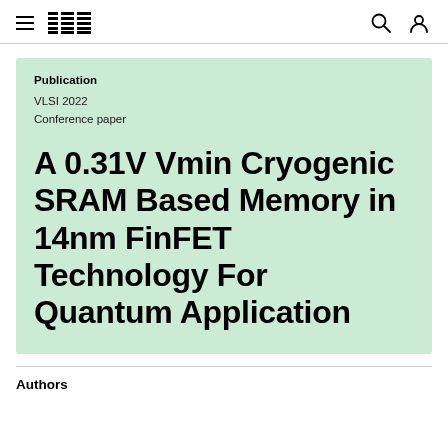IBM
Publication
VLSI 2022
Conference paper
A 0.31V Vmin Cryogenic SRAM Based Memory in 14nm FinFET Technology For Quantum Application
Authors